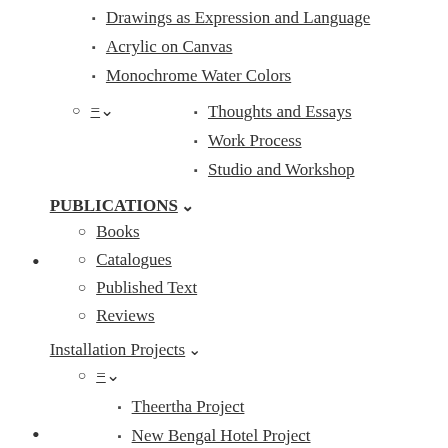Drawings as Expression and Language
Acrylic on Canvas
Monochrome Water Colors
= [dropdown]
Thoughts and Essays
Work Process
Studio and Workshop
PUBLICATIONS
Books
Catalogues
Published Text
Reviews
Installation Projects
= [dropdown]
Theertha Project
New Bengal Hotel Project
Sky
Tagore Architecture show at Victoria Memorial ,